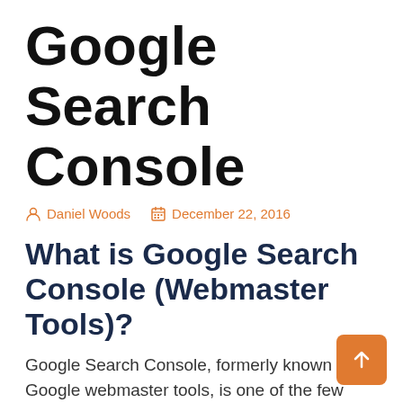Google Search Console
Daniel Woods   December 22, 2016
What is Google Search Console (Webmaster Tools)?
Google Search Console, formerly known as Google webmaster tools, is one of the few ways you can see your website through the eyes of Google. When customers search something, Google will deliver the most accurate and best results. If your website is